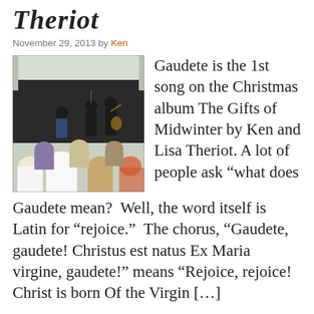Theriot
November 29, 2013 by Ken
[Figure (photo): Outdoor concert photo showing two performers on stage, one playing guitar, with an audience seated in front viewed from behind.]
Gaudete is the 1st song on the Christmas album The Gifts of Midwinter by Ken and Lisa Theriot.  A lot of people ask “what does Gaudete mean?  Well, the word itself is Latin for “rejoice.”  The chorus, “Gaudete, gaudete! Christus est natus Ex Maria virgine, gaudete!” means “Rejoice, rejoice! Christ is born Of the Virgin [...]